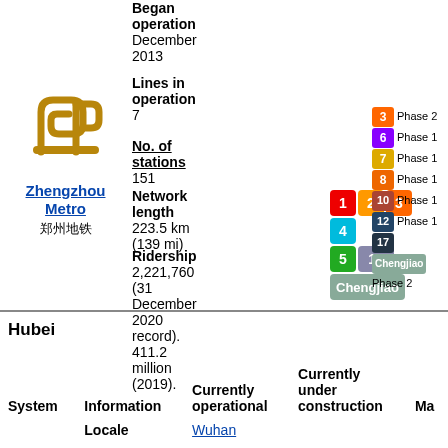[Figure (logo): Zhengzhou Metro logo — golden stylized interlocking shapes]
Zhengzhou Metro 郑州地铁
Began operation: December 2013
Lines in operation: 7
No. of stations: 151
Network length: 223.5 km (139 mi)
Ridership: 2,221,760 (31 December 2020 record). 411.2 million (2019).
[Figure (infographic): Metro line badges: red 1, yellow 2, orange 3, cyan 4, green 5, purple 14, olive Chengjiao. Right legend: 3 Phase 2, 6 Phase 1, 7 Phase 1, 8 Phase 1, 10 Phase 1, 12 Phase 1, 17, Chengjiao Phase 2]
Hubei
| System | Information | Currently operational | Currently under construction | Ma |
| --- | --- | --- | --- | --- |
|  | Locale | Wuhan |  |  |